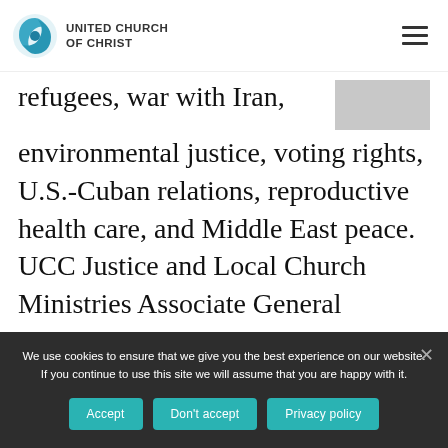UNITED CHURCH OF CHRIST
refugees, war with Iran, environmental justice, voting rights, U.S.-Cuban relations, reproductive health care, and Middle East peace. UCC Justice and Local Church Ministries Associate General Minister Rev. Traci Blackmon once said, “I know the struggles will continue. I know that before
We use cookies to ensure that we give you the best experience on our website. If you continue to use this site we will assume that you are happy with it.
Accept | Don't accept | Privacy policy